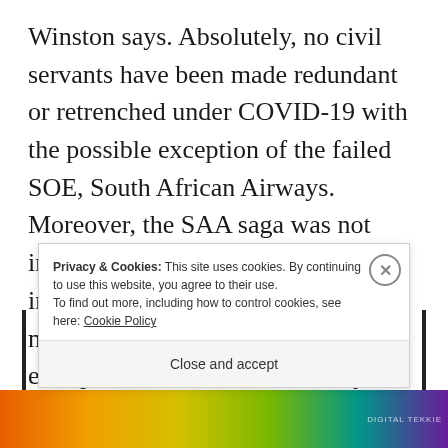Winston says. Absolutely, no civil servants have been made redundant or retrenched under COVID-19 with the possible exception of the failed SOE, South African Airways. Moreover, the SAA saga was not instigated by COVID-19, but more importantly, by ill-qualified board members. COVID-19 was, to quote entrepreneur, Vusi Thembekwayo, “the coffin” in which the ANC is burying the economy.
Privacy & Cookies: This site uses cookies. By continuing to use this website, you agree to their use.
To find out more, including how to control cookies, see here: Cookie Policy
Close and accept